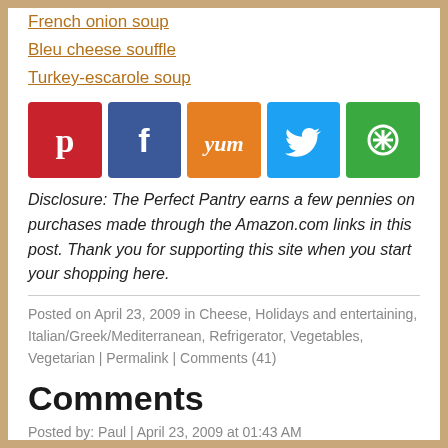French onion soup
Bleu cheese souffle
Turkey-escarole soup
[Figure (infographic): Five social media share buttons: Pinterest (red), Facebook (blue), Yum (orange), Twitter (light blue), Share/More (green)]
Disclosure: The Perfect Pantry earns a few pennies on purchases made through the Amazon.com links in this post. Thank you for supporting this site when you start your shopping here.
Posted on April 23, 2009 in Cheese, Holidays and entertaining, Italian/Greek/Mediterranean, Refrigerator, Vegetables, Vegetarian | Permalink | Comments (41)
Comments
Posted by: Paul | April 23, 2009 at 01:43 AM
Hmm... a new part of my job is regular travel to visit the students or home country institutions for